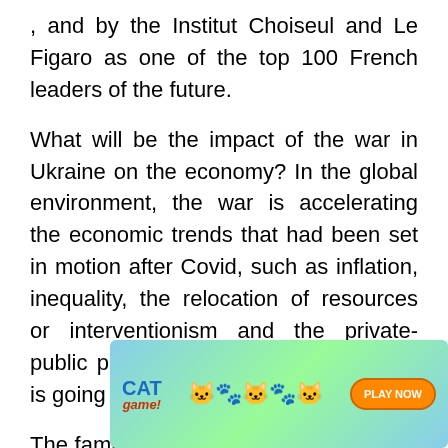, and by the Institut Choiseul and Le Figaro as one of the top 100 French leaders of the future.
What will be the impact of the war in Ukraine on the economy? In the global environment, the war is accelerating the economic trends that had been set in motion after Covid, such as inflation, inequality, the relocation of resources or interventionism and the private-public pact... On the public issue, who is going to pay for the war?
The families, the companies or will it be the State?
[Figure (other): Mobile game advertisement banner for 'Cat Game' with cartoon cat characters, a 'PLAY NOW' button, and a 'Close X' button overlay.]